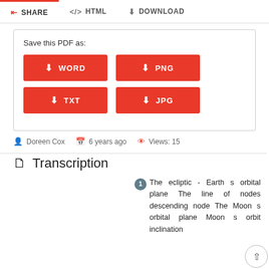[Figure (screenshot): Website UI showing tabs: SHARE (active), HTML, DOWNLOAD. Below is a panel 'Save this PDF as:' with four orange download buttons: WORD, PNG, TXT, JPG.]
Doreen Cox  6 years ago  Views: 15
Transcription
1  The ecliptic - Earth s orbital plane The line of nodes descending node The Moon s orbital plane Moon s orbit inclination